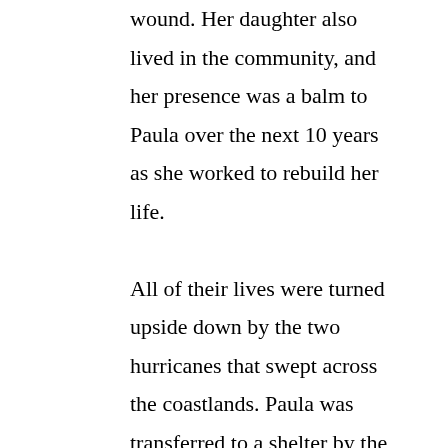wound. Her daughter also lived in the community, and her presence was a balm to Paula over the next 10 years as she worked to rebuild her life.

All of their lives were turned upside down by the two hurricanes that swept across the coastlands. Paula was transferred to a shelter by the local authorities, and there she stayed until permission to return was granted. She returned to Wawabar only to discover that everything was lost. Her farm animals, the work tools and fishing boat — There was nothing left behind. Paula found herself in the